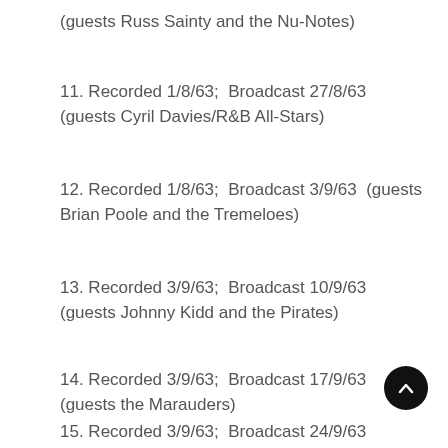(guests Russ Sainty and the Nu-Notes)
11. Recorded 1/8/63;  Broadcast 27/8/63 (guests Cyril Davies/R&B All-Stars)
12. Recorded 1/8/63;  Broadcast 3/9/63  (guests Brian Poole and the Tremeloes)
13. Recorded 3/9/63;  Broadcast 10/9/63 (guests Johnny Kidd and the Pirates)
14. Recorded 3/9/63;  Broadcast 17/9/63 (guests the Marauders)
15. Recorded 3/9/63;  Broadcast 24/9/63